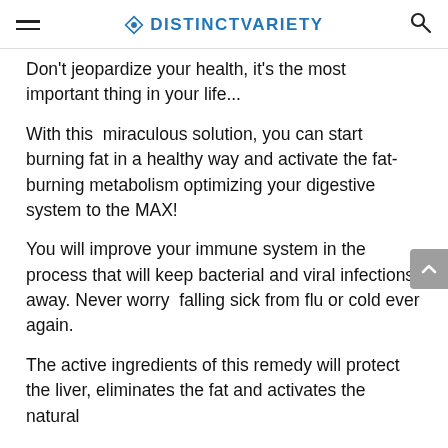DISTINCTVARIETY
Don't jeopardize your health, it's the most important thing in your life...
With this miraculous solution, you can start burning fat in a healthy way and activate the fat-burning metabolism optimizing your digestive system to the MAX!
You will improve your immune system in the process that will keep bacterial and viral infections away. Never worry falling sick from flu or cold ever again.
The active ingredients of this remedy will protect the liver, eliminates the fat and activates the natural